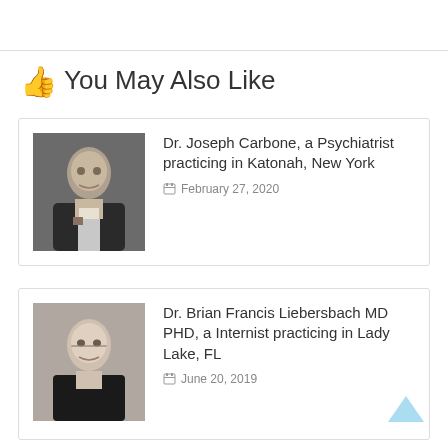You May Also Like
Dr. Joseph Carbone, a Psychiatrist practicing in Katonah, New York
February 27, 2020
Dr. Brian Francis Liebersbach MD PHD, a Internist practicing in Lady Lake, FL
June 20, 2019